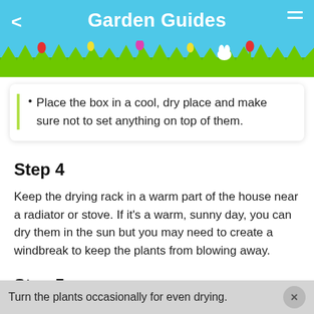Garden Guides
Place the box in a cool, dry place and make sure not to set anything on top of them.
Step 4
Keep the drying rack in a warm part of the house near a radiator or stove. If it’s a warm, sunny day, you can dry them in the sun but you may need to create a windbreak to keep the plants from blowing away.
Step 5
Turn the plants occasionally for even drying.